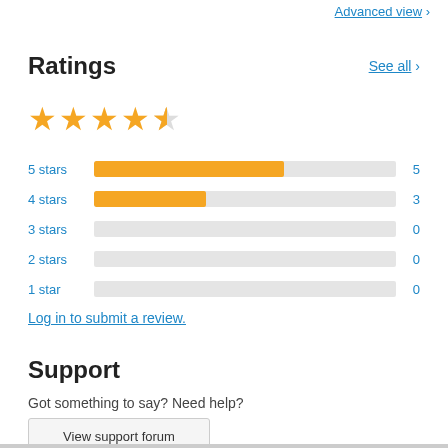Advanced view
Ratings
[Figure (other): 4.5 star rating shown with filled and half-filled gold stars]
[Figure (bar-chart): Star ratings breakdown]
Log in to submit a review.
Support
Got something to say? Need help?
View support forum